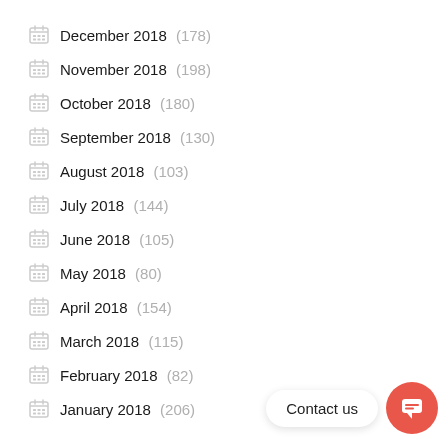December 2018 (178)
November 2018 (198)
October 2018 (180)
September 2018 (130)
August 2018 (103)
July 2018 (144)
June 2018 (105)
May 2018 (80)
April 2018 (154)
March 2018 (115)
February 2018 (82)
January 2018 (206)